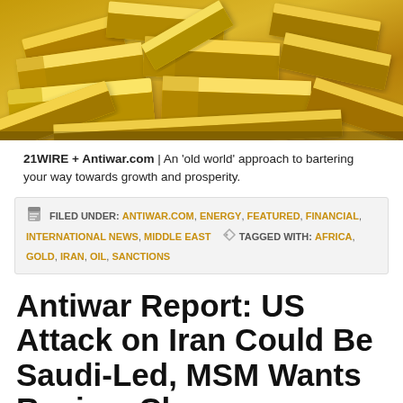[Figure (photo): A pile of gold bars/bullion stacked together, photographed from above at an angle, showing shiny golden rectangular ingots.]
21WIRE + Antiwar.com | An 'old world' approach to bartering your way towards growth and prosperity.
FILED UNDER: ANTIWAR.COM, ENERGY, FEATURED, FINANCIAL, INTERNATIONAL NEWS, MIDDLE EAST  TAGGED WITH: AFRICA, GOLD, IRAN, OIL, SANCTIONS
Antiwar Report: US Attack on Iran Could Be Saudi-Led, MSM Wants Regime Change